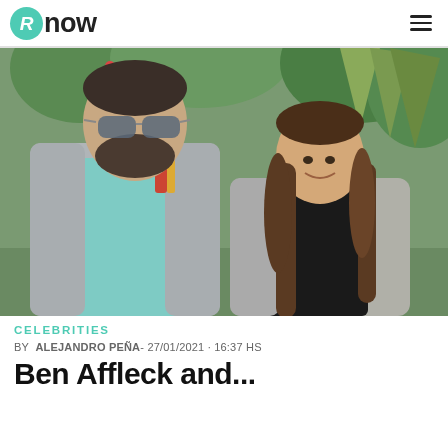Rnow
[Figure (photo): A man with a beard wearing aviator sunglasses, a teal t-shirt and grey zip-up hoodie walks beside a young woman with long brown hair wearing a grey cardigan and black top, with lush green tropical plants in the background.]
CELEBRITIES
BY  ALEJANDRO PEÑA- 27/01/2021 · 16:37 HS
Ben Affleck and...